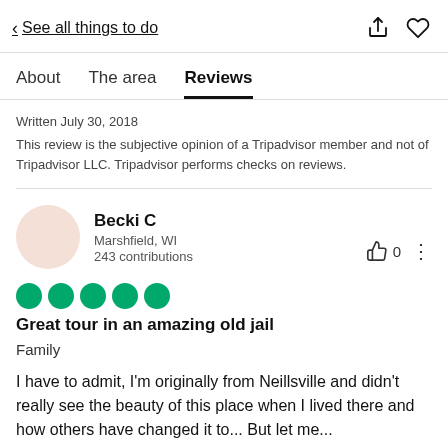< See all things to do
About   The area   Reviews
Written July 30, 2018
This review is the subjective opinion of a Tripadvisor member and not of Tripadvisor LLC. Tripadvisor performs checks on reviews.
Becki C
Marshfield, WI
243 contributions
[Figure (other): Five green filled circle rating dots indicating 5-star review]
Great tour in an amazing old jail
Family
I have to admit, I'm originally from Neillsville and didn't really see the beauty of this place when I lived there and how others have changed it to... But let me...